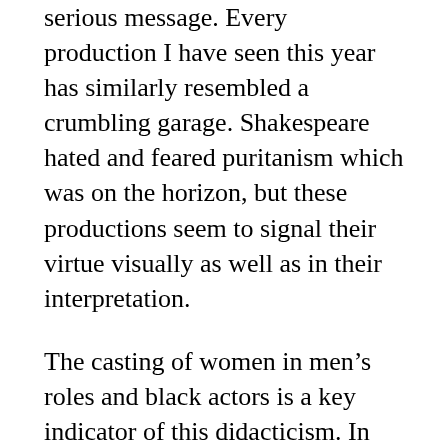serious message. Every production I have seen this year has similarly resembled a crumbling garage. Shakespeare hated and feared puritanism which was on the horizon, but these productions seem to signal their virtue visually as well as in their interpretation.
The casting of women in men’s roles and black actors is a key indicator of this didacticism. In Wolverhampton, the pimp, Pompey Bum, was white and comical. My mother didn’t like the word ‘bum’ at all, but I soothed her with an explanation from my A-level studies that it referred to ‘bum-bailey’, someone who worked in an orchard.
He was played with charm and spirit by the talented David Ajao, who gave us a welcome shot of humour stand-up style. But it was not